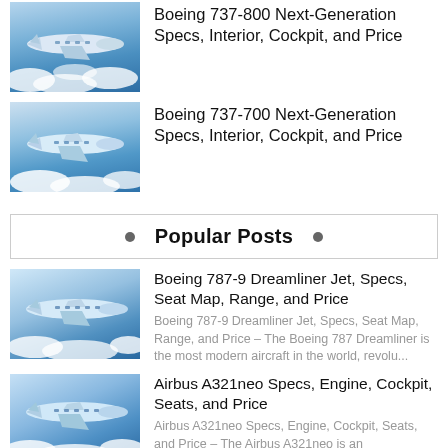[Figure (photo): Boeing 737-800 aircraft flying above clouds]
Boeing 737-800 Next-Generation Specs, Interior, Cockpit, and Price
[Figure (photo): Boeing 737-700 aircraft flying above clouds]
Boeing 737-700 Next-Generation Specs, Interior, Cockpit, and Price
Popular Posts
[Figure (photo): Boeing 787-9 Dreamliner aircraft]
Boeing 787-9 Dreamliner Jet, Specs, Seat Map, Range, and Price
Boeing 787-9 Dreamliner Jet, Specs, Seat Map, Range, and Price – The Boeing 787 Dreamliner is the most modern aircraft in the world, revolu...
[Figure (photo): Airbus A321neo aircraft flying above clouds]
Airbus A321neo Specs, Engine, Cockpit, Seats, and Price
Airbus A321neo Specs, Engine, Cockpit, Seats, and Price – The Airbus A321neo is an